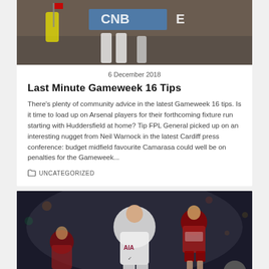[Figure (photo): Top cropped sports photo showing football/soccer players legs and a referee with yellow jacket, with CNB advertising board visible]
6 December 2018
Last Minute Gameweek 16 Tips
There's plenty of community advice in the latest Gameweek 16 tips. Is it time to load up on Arsenal players for their forthcoming fixture run starting with Huddersfield at home? Tip FPL General picked up on an interesting nugget from Neil Warnock in the latest Cardiff press conference: budget midfield favourite Camarasa could well be on penalties for the Gameweek...
UNCATEGORIZED
[Figure (photo): Football player in white Tottenham AIA jersey (Harry Kane) celebrating, with Southampton players in red shirts in background, stadium crowd visible]